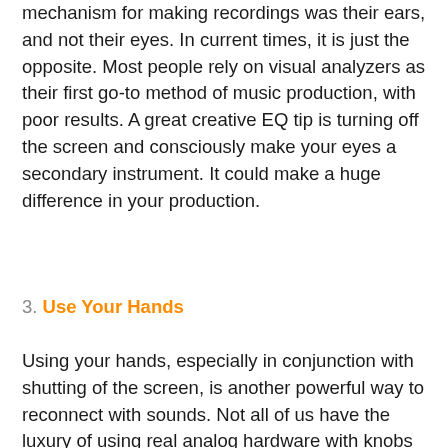mechanism for making recordings was their ears, and not their eyes. In current times, it is just the opposite. Most people rely on visual analyzers as their first go-to method of music production, with poor results. A great creative EQ tip is turning off the screen and consciously make your eyes a secondary instrument. It could make a huge difference in your production.
3. Use Your Hands
Using your hands, especially in conjunction with shutting of the screen, is another powerful way to reconnect with sounds. Not all of us have the luxury of using real analog hardware with knobs